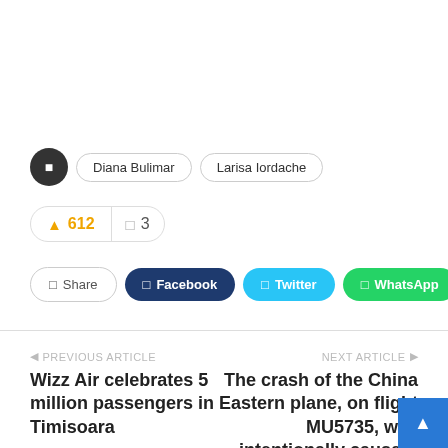Diana Bulimar
Larisa Iordache
612 likes  3 comments
Share  Facebook  Twitter  WhatsApp
PREVIOUS ARTICLE
Wizz Air celebrates 5 million passengers in Timisoara
NEXT ARTICLE
The crash of the China Eastern plane, on flight MU5735, was intentionally caused!